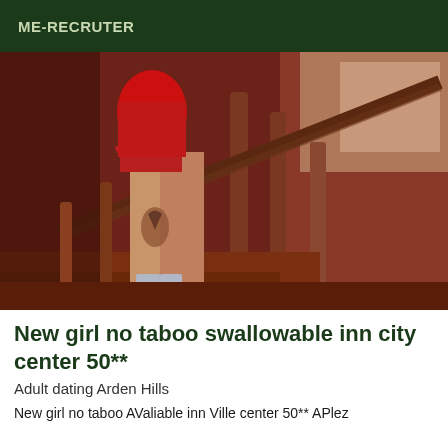ME-RECRUTER
[Figure (photo): Person in red outfit standing on wooden staircase, wearing high heels, with a tattoo visible on the leg, photo taken from below looking up]
New girl no taboo swallowable inn city center 50**
Adult dating Arden Hills
New girl no taboo AValiable inn Ville center 50** APlez